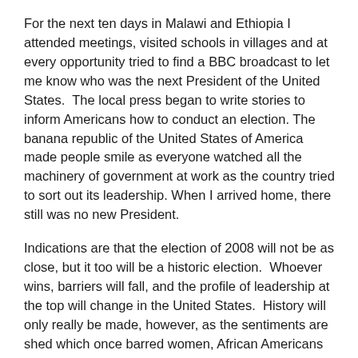For the next ten days in Malawi and Ethiopia I attended meetings, visited schools in villages and at every opportunity tried to find a BBC broadcast to let me know who was the next President of the United States.  The local press began to write stories to inform Americans how to conduct an election. The banana republic of the United States of America made people smile as everyone watched all the machinery of government at work as the country tried to sort out its leadership. When I arrived home, there still was no new President.
Indications are that the election of 2008 will not be as close, but it too will be a historic election.  Whoever wins, barriers will fall, and the profile of leadership at the top will change in the United States.  History will only really be made, however, as the sentiments are shed which once barred women, African Americans and others of color from opportunities.
As we've watched what has seemed like an endless electoral process over more than 20 months, we have also been watching the country coming to terms with itself and its ideals and its history. The ugliness and slurs that have accompanied part of this election for the more astute minds listening and learning...